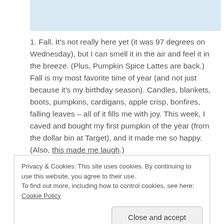[Figure (photo): Light blue rectangular image placeholder at top of page]
1. Fall. It's not really here yet (it was 97 degrees on Wednesday), but I can smell it in the air and feel it in the breeze. (Plus, Pumpkin Spice Lattes are back.) Fall is my most favorite time of year (and not just because it's my birthday season). Candles, blankets, boots, pumpkins, cardigans, apple crisp, bonfires, falling leaves – all of it fills me with joy. This week, I caved and bought my first pumpkin of the year (from the dollar bin at Target), and it made me so happy. (Also, this made me laugh.)
Privacy & Cookies: This site uses cookies. By continuing to use this website, you agree to their use.
To find out more, including how to control cookies, see here: Cookie Policy
Close and accept